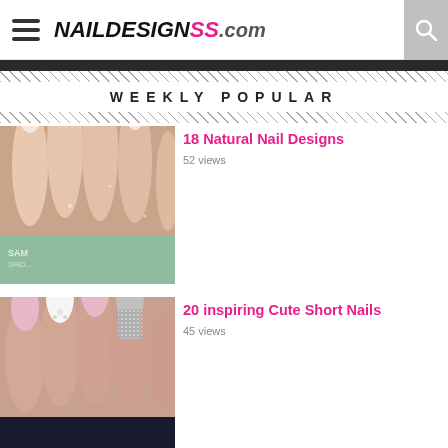NAILDESIGNSS.com
WEEKLY POPULAR
[Figure (photo): Close-up photo of natural long nails with subtle glitter, held over a light green surface. Watermark text 'SAM SHO...' visible.]
18 Natural Nail Designs
52 views
[Figure (photo): Close-up photo of short nails painted in pink, white with rhinestone detail, and glitter silver.]
20 inspiring Cute Short Nails
45 views